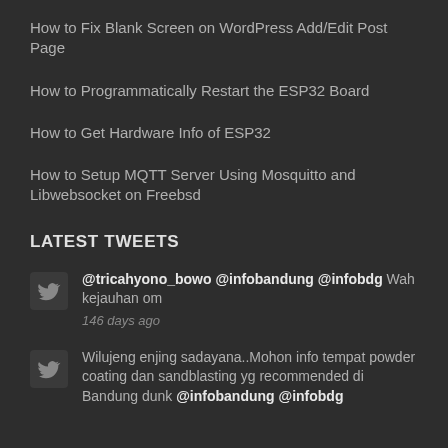How to Fix Blank Screen on WordPress Add/Edit Post Page
How to Programmatically Restart the ESP32 Board
How to Get Hardware Info of ESP32
How to Setup MQTT Server Using Mosquitto and Libwebsocket on Freebsd
LATEST TWEETS
@tricahyono_bowo @infobandung @infobdg Wah kejauhan om
146 days ago
Wilujeng enjing sadayana..Mohon info tempat powder coating dan sandblasting yg recommended di Bandung dunk @infobandung @infobdg